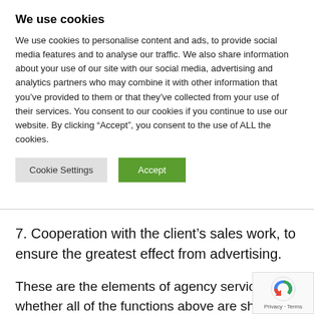We use cookies
We use cookies to personalise content and ads, to provide social media features and to analyse our traffic. We also share information about your use of our site with our social media, advertising and analytics partners who may combine it with other information that you’ve provided to them or that they’ve collected from your use of their services. You consent to our cookies if you continue to use our website. By clicking “Accept”, you consent to the use of ALL the cookies.
Cookie Settings | Accept
7. Cooperation with the client’s sales work, to ensure the greatest effect from advertising.
These are the elements of agency service, whether all of the functions above are shared by a few persons of e function is carried on separately by a specialized department. Into this pattern fit account executives who